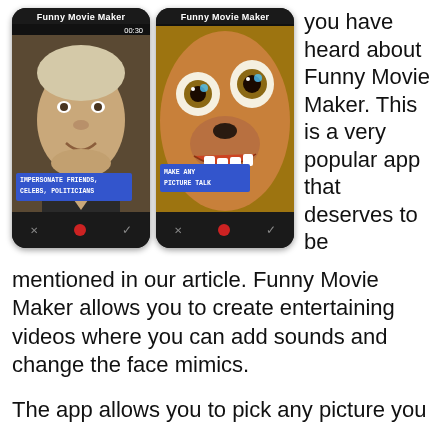[Figure (screenshot): Two smartphone screenshots of the Funny Movie Maker app. Left screenshot shows a man's face with text overlay 'IMPERSONATE FRIENDS, CELEBS, POLITICIANS'. Right screenshot shows a dog with human teeth and text overlay 'MAKE ANY PICTURE TALK'. Both screens show timer 00:30 and app title 'Funny Movie Maker'.]
you have heard about Funny Movie Maker. This is a very popular app that deserves to be mentioned in our article. Funny Movie Maker allows you to create entertaining videos where you can add sounds and change the face mimics.
The app allows you to pick any picture you